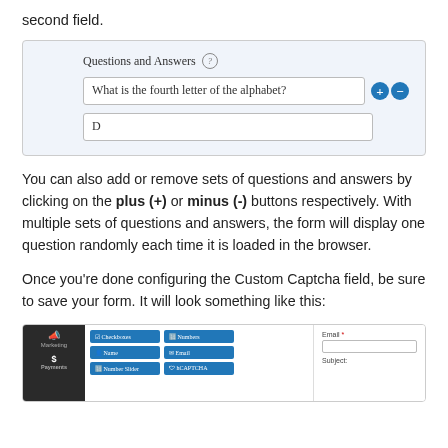second field.
[Figure (screenshot): UI screenshot showing 'Questions and Answers' section with a text field containing 'What is the fourth letter of the alphabet?' and plus/minus buttons, and an answer field containing 'D'.]
You can also add or remove sets of questions and answers by clicking on the plus (+) or minus (-) buttons respectively. With multiple sets of questions and answers, the form will display one question randomly each time it is loaded in the browser.
Once you're done configuring the Custom Captcha field, be sure to save your form. It will look something like this:
[Figure (screenshot): Screenshot of a form builder interface showing a sidebar with marketing/payments icons, field type buttons (Checkboxes, Numbers, Name, Email, Number Slider, hCAPTCHA), and a form with Email and Subject fields.]